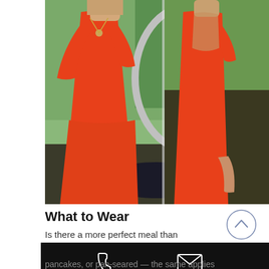[Figure (photo): Two views of a woman wearing a red/orange V-neck short-sleeve midi dress, posed outdoors near a circular metal sculpture with garden greenery in background. Left image shows front view with necklace, right image shows back/side view.]
What to Wear
Is there a more perfect meal than brunch? It's
[Figure (screenshot): Black navigation bar with white phone icon on left and white envelope/email icon on right]
pancakes, or pan-seared — the same applies